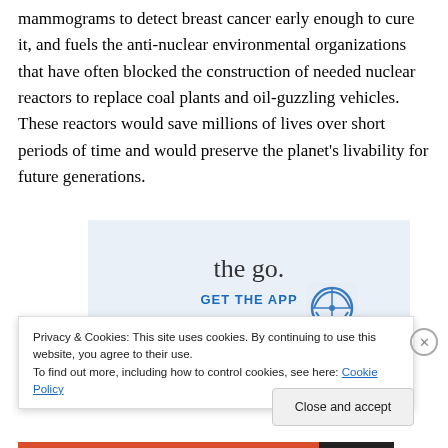mammograms to detect breast cancer early enough to cure it, and fuels the anti-nuclear environmental organizations that have often blocked the construction of needed nuclear reactors to replace coal plants and oil-guzzling vehicles.  These reactors would save millions of lives over short periods of time and would preserve the planet's livability for future generations.
[Figure (screenshot): Advertisement banner with light blue background showing 'the go.' text and 'GET THE APP' link with WordPress icon]
Privacy & Cookies: This site uses cookies. By continuing to use this website, you agree to their use.
To find out more, including how to control cookies, see here: Cookie Policy
Close and accept